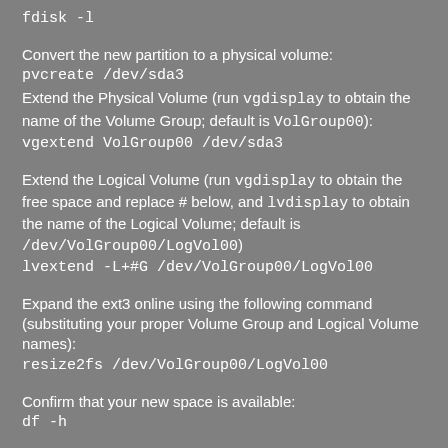fdisk -l
Convert the new partition to a physical volume:
pvcreate /dev/sda3
Extend the Physical Volume (run vgdisplay to obtain the name of the Volume Group; default is VolGroup00):
vgextend VolGroup00 /dev/sda3
Extend the Logical Volume (run vgdisplay to obtain the free space and replace # below, and lvdisplay to obtain the name of the Logical Volume; default is /dev/VolGroup00/LogVol00)
lvextend -L+#G /dev/VolGroup00/LogVol00
Expand the ext3 online using the following command (substituting your proper Volume Group and Logical Volume names):
resize2fs /dev/VolGroup00/LogVol00
Confirm that your new space is available:
df -h